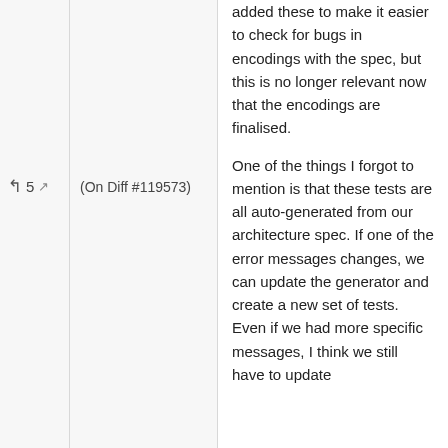added these to make it easier to check for bugs in encodings with the spec, but this is no longer relevant now that the encodings are finalised.
(On Diff #119573)
One of the things I forgot to mention is that these tests are all auto-generated from our architecture spec. If one of the error messages changes, we can update the generator and create a new set of tests. Even if we had more specific messages, I think we still have to update